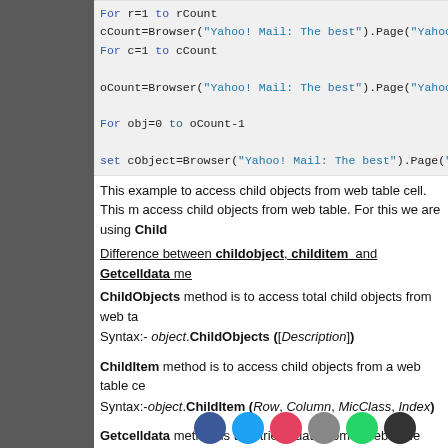[Figure (screenshot): Code block showing For loop with rCount, cCount Browser calls, For c=1 to cCount, oCount Browser call, For obj=0 to oCount-1, set cObject Browser call]
This example to access child objects from web table cell. This method to access child objects from web table. For this we are using ChildObjects
Difference between childobject, childitem and Getcelldata methods
ChildObjects method is to access total child objects from web table.
Syntax:- object.ChildObjects ([Description])
ChildItem method is to access child objects from a web table cell.
Syntax:-object.ChildItem (Row, Column, MicClass, Index)
Getcelldata method is to retrieve data from a web table cell in w
Syntax:-object.GetCellData (Row, Column)